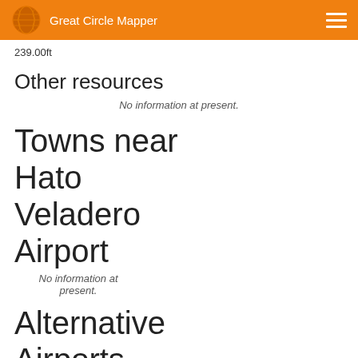Great Circle Mapper
239.00ft
Other resources
No information at present.
Towns near Hato Veladero Airport
No information at present.
Alternative Airports
Hato Veladero Airport on a map